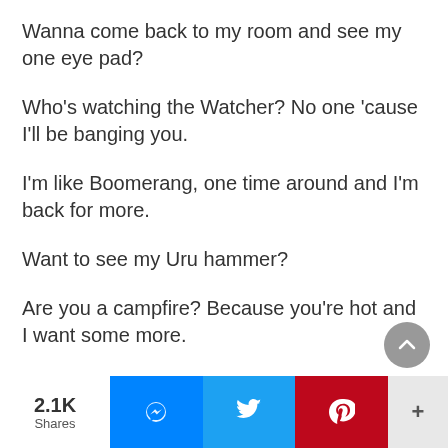Wanna come back to my room and see my one eye pad?
Who's watching the Watcher? No one 'cause I'll be banging you.
I'm like Boomerang, one time around and I'm back for more.
Want to see my Uru hammer?
Are you a campfire? Because you're hot and I want some more.
I'm no Wilma Flintstone but I can make your
2.1K Shares | Messenger | Twitter | Pinterest | +